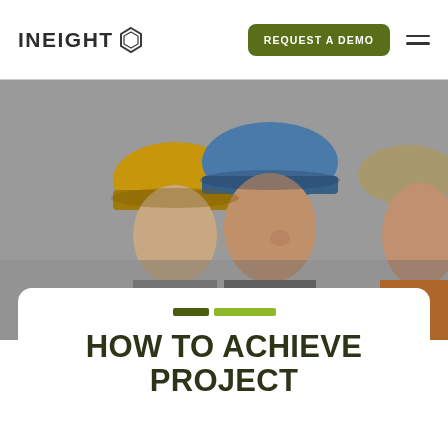INEIGHT — REQUEST A DEMO navigation header
[Figure (photo): Three construction workers wearing hard hats (yellow, blue) looking downward, photographed from below against a grey sky. Worker on the right is wearing an orange high-visibility vest.]
HOW TO ACHIEVE PROJECT